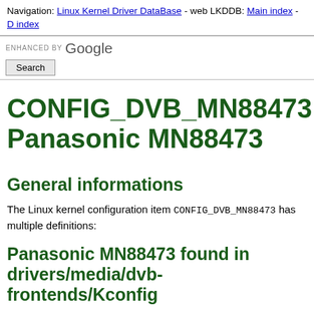Navigation: Linux Kernel Driver DataBase - web LKDDB: Main index - D index
[Figure (other): Google custom search bar with ENHANCED BY Google label and Search button]
CONFIG_DVB_MN88473: Panasonic MN88473
General informations
The Linux kernel configuration item CONFIG_DVB_MN88473 has multiple definitions:
Panasonic MN88473 found in drivers/media/dvb-frontends/Kconfig